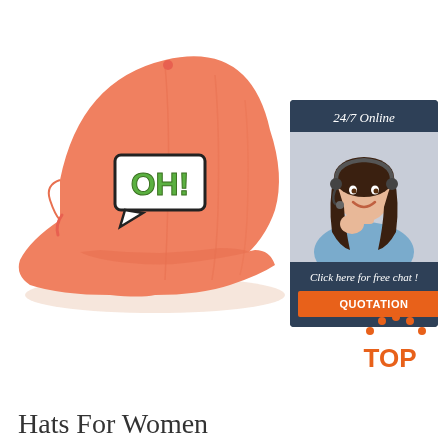[Figure (photo): A salmon/coral colored baseball cap with an 'OH!' speech bubble embroidered patch on the front, shown on a white background]
[Figure (infographic): 24/7 Online chat widget with a woman wearing a headset, dark navy background, text 'Click here for free chat!', and an orange 'QUOTATION' button]
[Figure (logo): TOP logo with orange dotted arc above the word TOP in orange letters]
Hats For Women